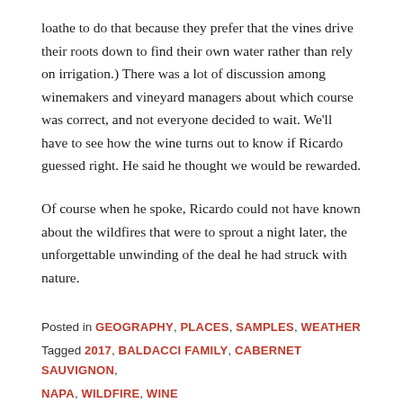loathe to do that because they prefer that the vines drive their roots down to find their own water rather than rely on irrigation.) There was a lot of discussion among winemakers and vineyard managers about which course was correct, and not everyone decided to wait. We'll have to see how the wine turns out to know if Ricardo guessed right. He said he thought we would be rewarded.
Of course when he spoke, Ricardo could not have known about the wildfires that were to sprout a night later, the unforgettable unwinding of the deal he had struck with nature.
Posted in GEOGRAPHY, PLACES, SAMPLES, WEATHER
Tagged 2017, BALDACCI FAMILY, CABERNET SAUVIGNON, NAPA, WILDFIRE, WINE